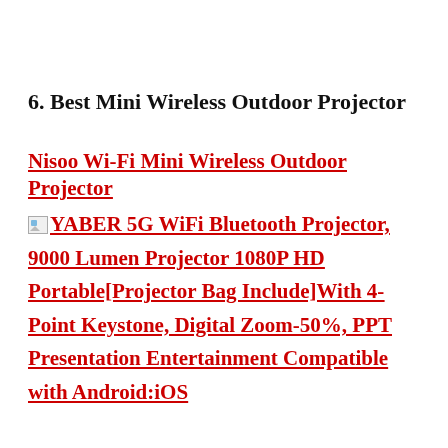6. Best Mini Wireless Outdoor Projector
Nisoo Wi-Fi Mini Wireless Outdoor Projector
[Figure (other): Broken image placeholder icon followed by linked product text: YABER 5G WiFi Bluetooth Projector, 9000 Lumen Projector 1080P HD Portable[Projector Bag Include]With 4-Point Keystone, Digital Zoom-50%, PPT Presentation Entertainment Compatible with Android:iOS]